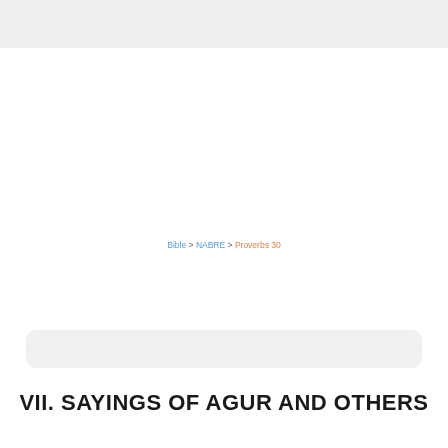Bible > NABRE > Proverbs 30
VII. SAYINGS OF AGUR AND OTHERS